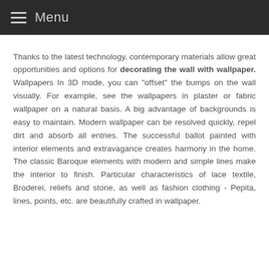Menu
Thanks to the latest technology, contemporary materials allow great opportunities and options for decorating the wall with wallpaper. Wallpapers In 3D mode, you can "offset" the bumps on the wall visually. For example, see the wallpapers in plaster or fabric wallpaper on a natural basis. A big advantage of backgrounds is easy to maintain. Modern wallpaper can be resolved quickly, repel dirt and absorb all entries. The successful ballot painted with interior elements and extravagance creates harmony in the home. The classic Baroque elements with modern and simple lines make the interior to finish. Particular characteristics of lace textile, Broderei, reliefs and stone, as well as fashion clothing - Pepita, lines, points, etc. are beautifully crafted in wallpaper.